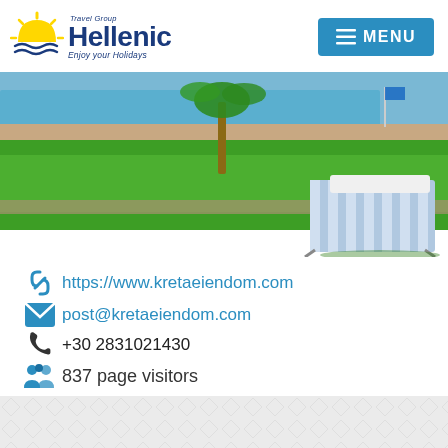[Figure (logo): Hellenic Travel Group logo with sun and waves icon, text 'Hellenic', 'Travel Group', 'Enjoy your Holidays']
[Figure (other): Menu button with hamburger icon, teal/blue background, text MENU]
[Figure (photo): Resort/hotel outdoor photo showing green lawn, swimming pool area, palm tree, and striped lounge chair in foreground]
https://www.kretaeiendom.com
post@kretaeiendom.com
+30 2831021430
837 page visitors